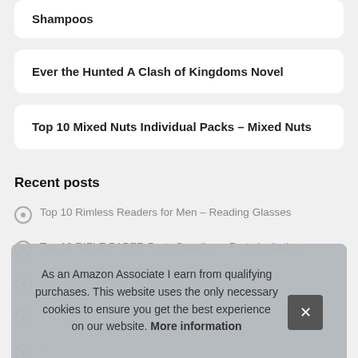Shampoos
Ever the Hunted A Clash of Kingdoms Novel
Top 10 Mixed Nuts Individual Packs – Mixed Nuts
Recent posts
Top 10 Rimless Readers for Men – Reading Glasses
Top 10 RIFLE PAPER Party Supplies – Party Invitations
Top 3 Blue Botanik Powder Belly Sports Nutrition Blue Botanik Pow...
T...
T...
As an Amazon Associate I earn from qualifying purchases. This website uses the only necessary cookies to ensure you get the best experience on our website. More information